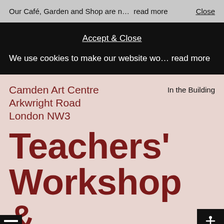Our Café, Garden and Shop are n...  read more   Close
Accept & Close
We use cookies to make our website wo... read more
Camden Art Centre
Arkwright Road
London NW3
In the Building
Teachers' Workshop &